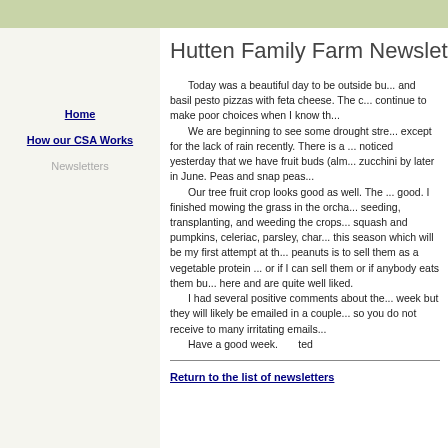Hutten Family Farm Newsletter
Home
How our CSA Works
Newsletters
Today was a beautiful day to be outside bu... and basil pesto pizzas with feta cheese. The c... continue to make poor choices when I know th... We are beginning to see some drought stre... except for the lack of rain recently. There is a ... noticed yesterday that we have fruit buds (alm... zucchini by later in June. Peas and snap peas... Our tree fruit crop looks good as well. The ... good. I finished mowing the grass in the orcha... seeding, transplanting, and weeding the crops... squash and pumpkins, celeriac, parsley, char... this season which will be my first attempt at th... peanuts is to sell them as a vegetable protein ... or if I can sell them or if anybody eats them bu... here and are quite well liked. I had several positive comments about the... week but they will likely be emailed in a couple... so you do not receive to many irritating emails... Have a good week.        ted
Return to the list of newsletters